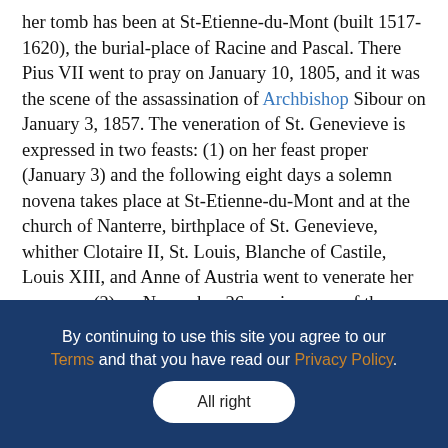her tomb has been at St-Etienne-du-Mont (built 1517-1620), the burial-place of Racine and Pascal. There Pius VII went to pray on January 10, 1805, and it was the scene of the assassination of Archbishop Sibour on January 3, 1857. The veneration of St. Genevieve is expressed in two feasts: (1) on her feast proper (January 3) and the following eight days a solemn novena takes place at St-Etienne-du-Mont and at the church of Nanterre, birthplace of St. Genevieve, whither Clotaire II, St. Louis, Blanche of Castile, Louis XIII, and Anne of Austria went to venerate her memory: (2) on November 26, anniversary of the miracle whereby, in 1130, a procession of the relics of St. Genevieve cured many Parisians of the mal des.
By continuing to use this site you agree to our Terms and that you have read our Privacy Policy.
All right